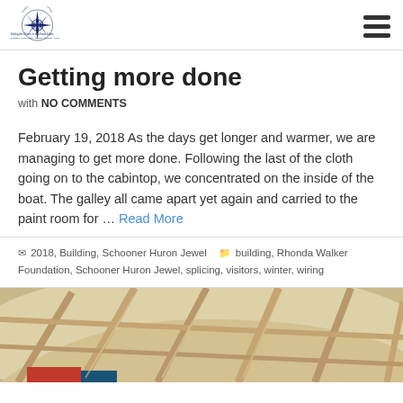Drummond Island Tall Ship Company — Sailing the Dream in the Great Lakes — Schooner Huron Jewel · Ojibway Mathilda · Helen
Getting more done
with NO COMMENTS
February 19, 2018 As the days get longer and warmer, we are managing to get more done. Following the last of the cloth going on to the cabintop, we concentrated on the inside of the boat. The galley all came apart yet again and carried to the paint room for … Read More
2018, Building, Schooner Huron Jewel   building, Rhonda Walker Foundation, Schooner Huron Jewel, splicing, visitors, winter, wiring
[Figure (photo): Photo of boat construction showing wooden ribs/frames and curved hull structure from inside]